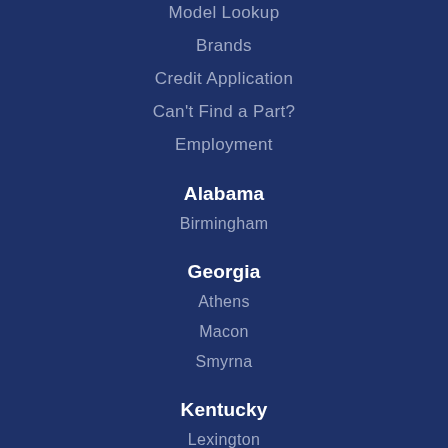Model Lookup
Brands
Credit Application
Can't Find a Part?
Employment
Alabama
Birmingham
Georgia
Athens
Macon
Smyrna
Kentucky
Lexington
Maryland